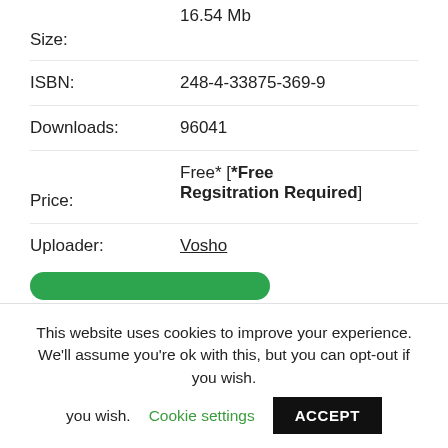16.54 Mb
Size:
ISBN: 248-4-33875-369-9
Downloads: 96041
Price: Free* [*Free Regsitration Required]
Uploader: Vosho
This website uses cookies to improve your experience. We'll assume you're ok with this, but you can opt-out if you wish. Cookie settings ACCEPT